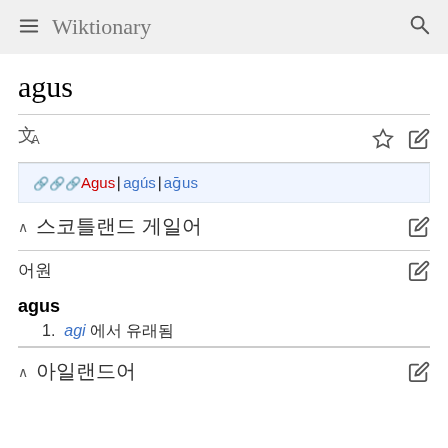Wiktionary
agus
🌐 Agus | agús | aḡus
스코틀랜드 게일어
어원
agus
1. agi 에서 유래됨
아일랜드어